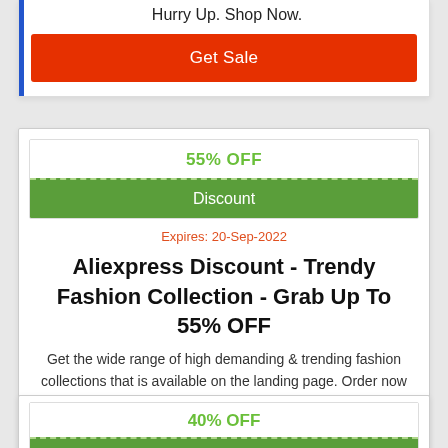Hurry Up. Shop Now.
Get Sale
55% OFF
Discount
Expires: 20-Sep-2022
Aliexpress Discount - Trendy Fashion Collection - Grab Up To 55% OFF
Get the wide range of high demanding & trending fashion collections that is available on the landing page. Order now & get a discount of up to 55%. Hurry Up!
Get Discount
40% OFF
Discount